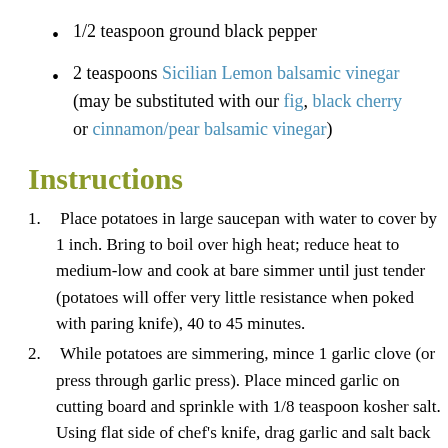1/2 teaspoon ground black pepper
2 teaspoons Sicilian Lemon balsamic vinegar (may be substituted with our fig, black cherry or cinnamon/pear balsamic vinegar)
Instructions
1. Place potatoes in large saucepan with water to cover by 1 inch. Bring to boil over high heat; reduce heat to medium-low and cook at bare simmer until just tender (potatoes will offer very little resistance when poked with paring knife), 40 to 45 minutes.
2. While potatoes are simmering, mince 1 garlic clove (or press through garlic press). Place minced garlic on cutting board and sprinkle with 1/8 teaspoon kosher salt. Using flat side of chef's knife, drag garlic and salt back and forth across cutting board in small circular